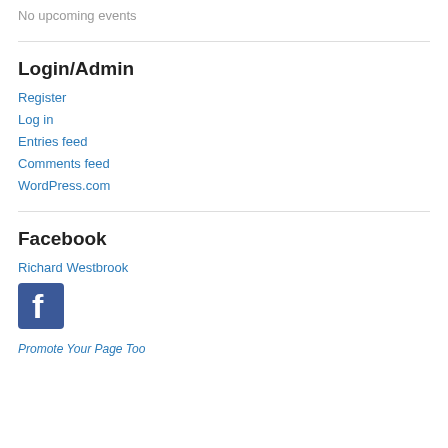No upcoming events
Login/Admin
Register
Log in
Entries feed
Comments feed
WordPress.com
Facebook
Richard Westbrook
[Figure (logo): Facebook logo icon - blue square with white 'f' letter]
Promote Your Page Too